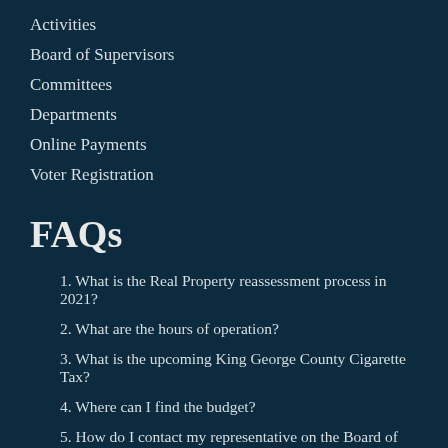Activities
Board of Supervisors
Committees
Departments
Online Payments
Voter Registration
FAQs
1. What is the Real Property reassessment process in 2021?
2. What are the hours of operation?
3. What is the upcoming King George County Cigarette Tax?
4. Where can I find the budget?
5. How do I contact my representative on the Board of Supervisors?
6. When are taxes due?